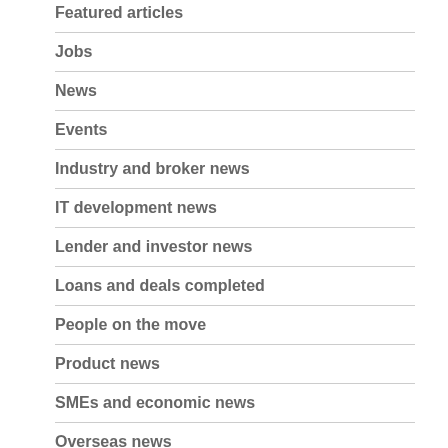Featured articles
Jobs
News
Events
Industry and broker news
IT development news
Lender and investor news
Loans and deals completed
People on the move
Product news
SMEs and economic news
Overseas news
Trade and export finance